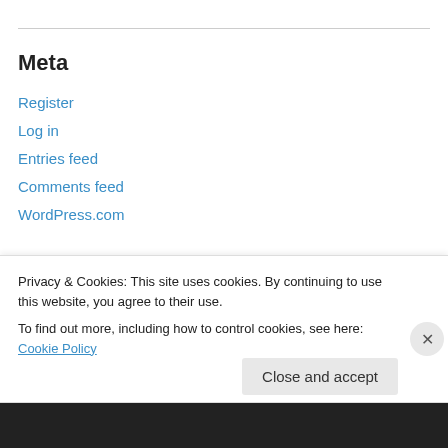Meta
Register
Log in
Entries feed
Comments feed
WordPress.com
Archives
Select Month
Privacy & Cookies: This site uses cookies. By continuing to use this website, you agree to their use.
To find out more, including how to control cookies, see here: Cookie Policy
Close and accept